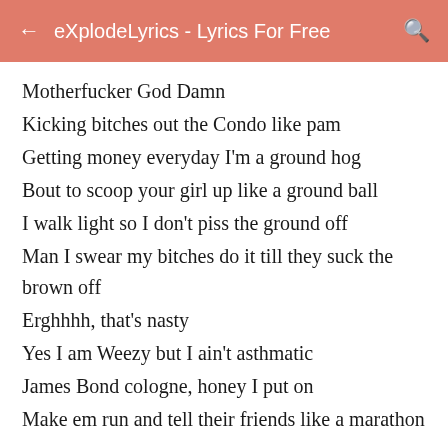← eXplodeLyrics - Lyrics For Free 🔍
Motherfucker God Damn
Kicking bitches out the Condo like pam
Getting money everyday I'm a ground hog
Bout to scoop your girl up like a ground ball
I walk light so I don't piss the ground off
Man I swear my bitches do it till they suck the brown off
Erghhhh, that's nasty
Yes I am Weezy but I ain't asthmatic
James Bond cologne, honey I put on
Make em run and tell their friends like a marathon